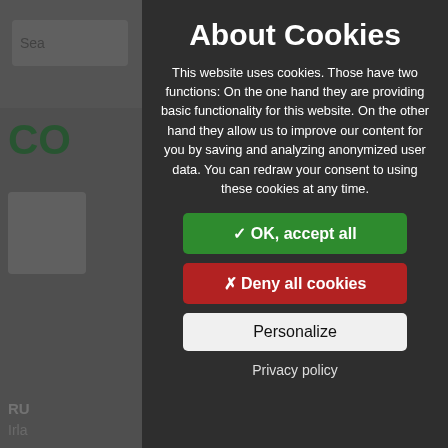[Figure (screenshot): Background webpage partially visible behind cookie consent modal. Shows a search bar, hamburger menu, green 'CO' heading, icon box, and partial contact information.]
About Cookies
This website uses cookies. Those have two functions: On the one hand they are providing basic functionality for this website. On the other hand they allow us to improve our content for you by saving and analyzing anonymized user data. You can redraw your consent to using these cookies at any time.
✓ OK, accept all
✗ Deny all cookies
Personalize
Privacy policy